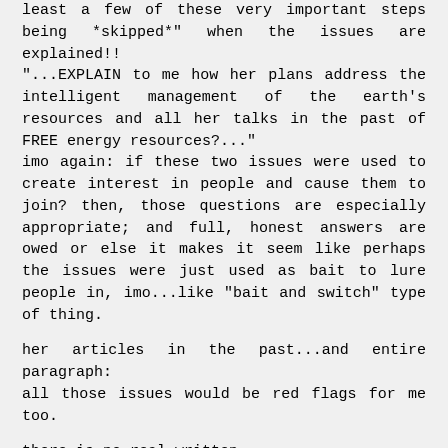least a few of these very important steps being *skipped*" when the issues are explained!! "...EXPLAIN to me how her plans address the intelligent management of the earth's resources and all her talks in the past of FREE energy resources?..." imo again: if these two issues were used to create interest in people and cause them to join? then, those questions are especially appropriate; and full, honest answers are owed or else it makes it seem like perhaps the issues were just used as bait to lure people in, imo...like "bait and switch" type of thing.
her articles in the past...and entire paragraph: all those issues would be red flags for me too.
there is no real written... :):)say what?...!she did it for herSELF, shes just bringing us along...!!!? WHAT!??? :):):) YER kiddin' me!!